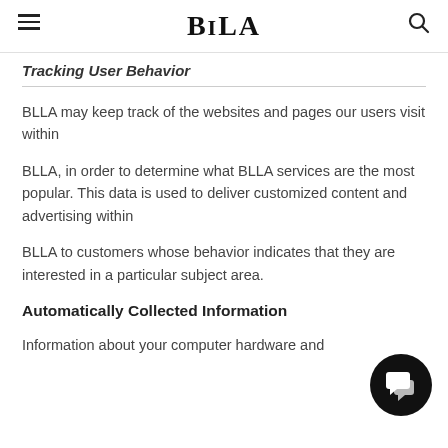BILA
Tracking User Behavior
BLLA may keep track of the websites and pages our users visit within
BLLA, in order to determine what BLLA services are the most popular. This data is used to deliver customized content and advertising within
BLLA to customers whose behavior indicates that they are interested in a particular subject area.
Automatically Collected Information
Information about your computer hardware and